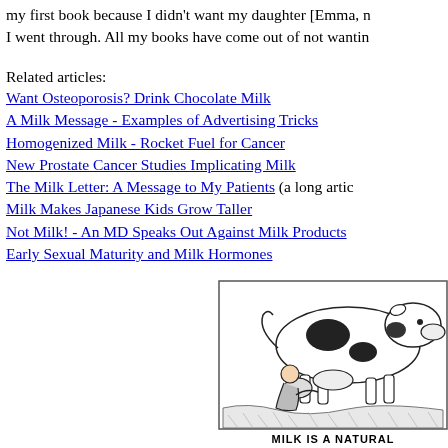my first book because I didn't want my daughter [Emma, n I went through. All my books have come out of not wantin
Related articles:
Want Osteoporosis? Drink Chocolate Milk
A Milk Message - Examples of Advertising Tricks
Homogenized Milk - Rocket Fuel for Cancer
New Prostate Cancer Studies Implicating Milk
The Milk Letter: A Message to My Patients (a long artic
Milk Makes Japanese Kids Grow Taller
Not Milk! - An MD Speaks Out Against Milk Products
Early Sexual Maturity and Milk Hormones
[Figure (illustration): Black and white illustration of a person milking a Holstein cow, with partial text caption below reading 'MILK IS A NATURAL...']